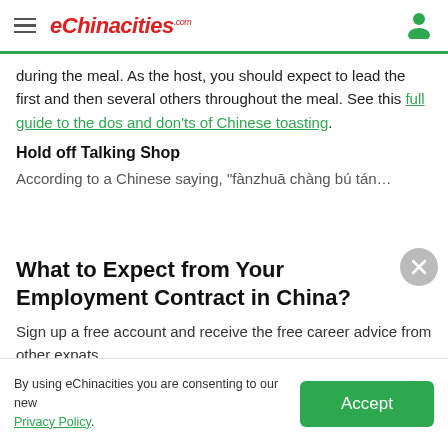eChinacities.com
during the meal. As the host, you should expect to lead the first and then several others throughout the meal. See this full guide to the dos and don'ts of Chinese toasting.
Hold off Talking Shop
According to a Chinese saying, "fànzhuā chàng bú tán…
What to Expect from Your Employment Contract in China?
Sign up a free account and receive the free career advice from other expats.
Sign up with Google
By using eChinacities you are consenting to our new Privacy Policy.